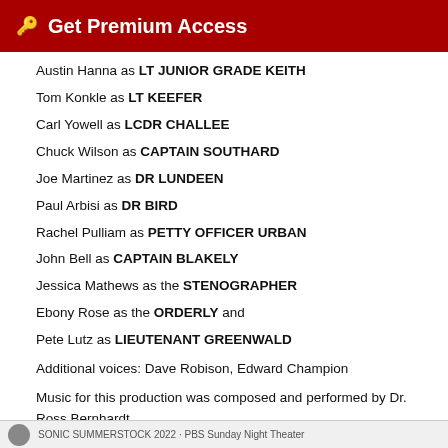Get Premium Access
Austin Hanna as LT JUNIOR GRADE KEITH
Tom Konkle as LT KEEFER
Carl Yowell as LCDR CHALLEE
Chuck Wilson as CAPTAIN SOUTHARD
Joe Martinez as DR LUNDEEN
Paul Arbisi as DR BIRD
Rachel Pulliam as PETTY OFFICER URBAN
John Bell as CAPTAIN BLAKELY
Jessica Mathews as the STENOGRAPHER
Ebony Rose as the ORDERLY and
Pete Lutz as LIEUTENANT GREENWALD
Additional voices: Dave Robison, Edward Champion
Music for this production was composed and performed by Dr. Ross Bernhardt.
SONIC SUMMERSTOCK 2022 · PBS Sunday Night Theater